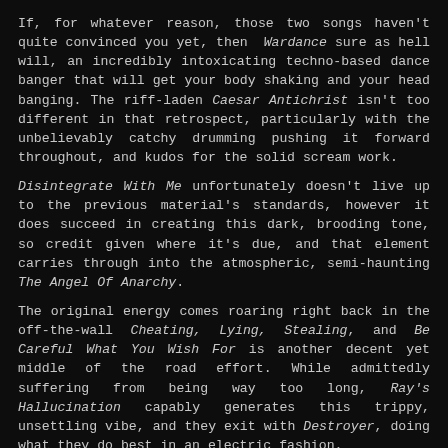If, for whatever reason, those two songs haven't quite convinced you yet, then Wardance sure as hell will, an incredibly intoxicating techno-based dance banger that will get your body shaking and your head banging. The riff-laden Caesar Antichrist isn't too different in that retrospect, particularly with the unbelievably catchy drumming pushing it forward throughout, and kudos for the solid scream work.
Disintegrate With Me unfortunately doesn't live up to the previous material's standards, however it does succeed in creating this dark, brooding tone, so credit given where it's due, and that element carries through into the atmospheric, semi-haunting The Angel Of Anarchy.
The original energy comes roaring right back in the off-the-wall Cheating, Lying, Stealing, and Be Careful What You Wish For is another decent yet middle of the road effort. While admittedly suffering from being way too long, Ray's Hallucination capably generates this trippy, unsettling vibe, and they exit with Destroyer, doing what they do best in an electric fashion.
Despite the album not ranking as perfect exactly, being dragged down a few pegs by various minor flaws that kill the flow, Be My Enemy still manage to accomplish a lot with this album, experimenting with a range of styles, and when at its peak, it is a fantastic, adrenaline-racing endeavour to behold.